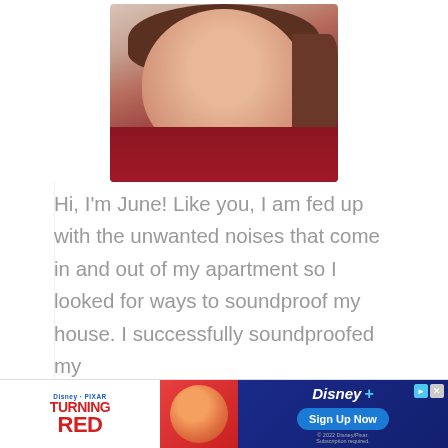[Figure (photo): Headshot photo of a smiling woman with brown hair wearing a red floral top, photographed from chest up against a white background]
Hi, I'm June! Like you, I am fed up with the unwanted noises that come in and out of my apartment so I looked for ways to soundproof my house. I successfully soundproofed my
[Figure (photo): Disney/Pixar Turning Red advertisement banner featuring the red panda character and Disney+ logo with Sign Up Now button]